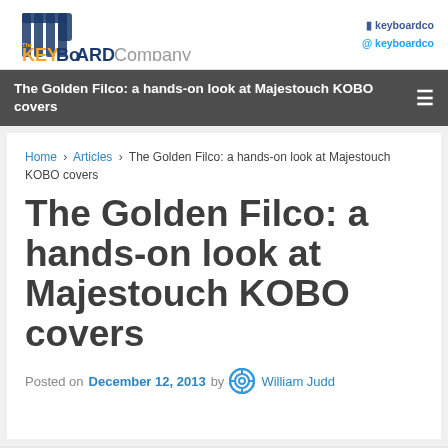[Figure (logo): The Keyboard Company logo with gear icon, yellow KEY, dark blue BOARD, gray Company text]
keyboardco (Facebook) keyboardco (Twitter)
The Golden Filco: a hands-on look at Majestouch KOBO covers
Home › Articles › The Golden Filco: a hands-on look at Majestouch KOBO covers
The Golden Filco: a hands-on look at Majestouch KOBO covers
Posted on December 12, 2013 by William Judd